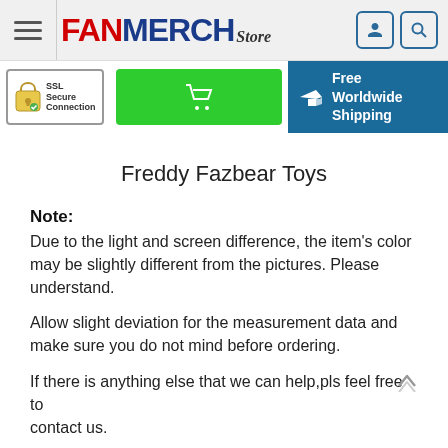[Figure (logo): FanMerch Store logo with hamburger menu, user and search icons]
[Figure (infographic): SSL Secure Connection badge, green shopping cart button, and Free Worldwide Shipping teal banner]
Freddy Fazbear Toys
Note: Due to the light and screen difference, the item's color may be slightly different from the pictures. Please understand.
Allow slight deviation for the measurement data and make sure you do not mind before ordering.
If there is anything else that we can help,pls feel free to contact us.